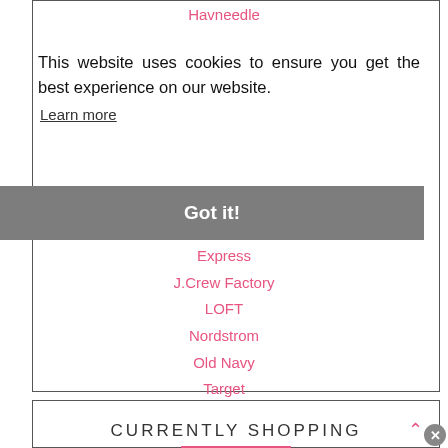Havneedle
This website uses cookies to ensure you get the best experience on our website. Learn more
Got it!
Express
J.Crew Factory
LOFT
Nordstrom
Old Navy
Target
TJ Maxx
CURRENTLY SHOPPING